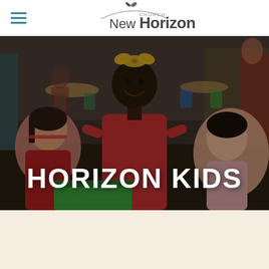[Figure (logo): New Horizon Church logo with a dove/bird graphic and curved line above the text]
[Figure (photo): Photo of children in a classroom setting, smiling and engaged in activities. A girl in a red dress with a gold bow in her hair is prominently featured in the center.]
HORIZON KIDS